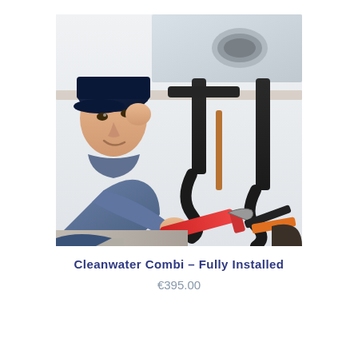[Figure (photo): A plumber wearing a blue cap and blue shirt, crouching under a kitchen sink, holding a red pipe wrench. Black PVC pipes and other plumbing tools are visible. The background shows a white kitchen cabinet interior and stainless steel sink above.]
Cleanwater Combi – Fully Installed
€395.00